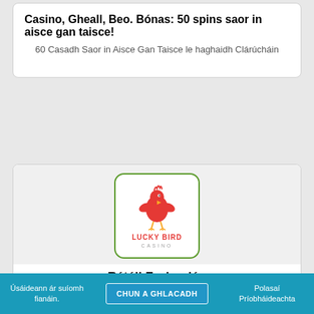Casino, Gheall, Beo. Bónas: 50 spins saor in aisce gan taisce!
60 Casadh Saor in Aisce Gan Taisce le haghaidh Clárúcháin
[Figure (logo): Lucky Bird Casino logo — a red cartoon bird character with wings, above the text LUCKY BIRD CASINO in red and grey letters, inside a white rounded rectangle with a green border]
Rátáil Foriomlán
Úsáideann ár suíomh fianáin. | CHUN A GHLACADH | Polasaí Príobháideachta